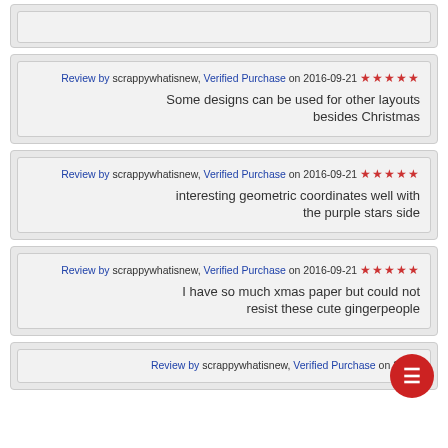(partial top card, no visible content)
Review by scrappywhatisnew, Verified Purchase on 2016-09-21 ★★★★★ Some designs can be used for other layouts besides Christmas
Review by scrappywhatisnew, Verified Purchase on 2016-09-21 ★★★★★ interesting geometric coordinates well with the purple stars side
Review by scrappywhatisnew, Verified Purchase on 2016-09-21 ★★★★★ I have so much xmas paper but could not resist these cute gingerpeople
Review by scrappywhatisnew, Verified Purchase on 2016-